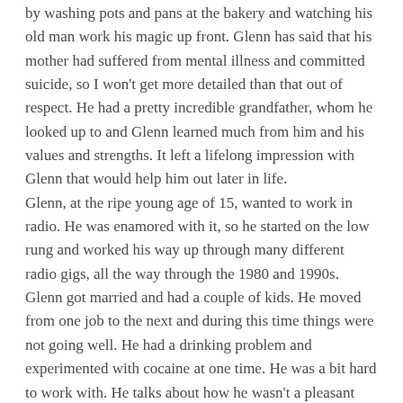by washing pots and pans at the bakery and watching his old man work his magic up front. Glenn has said that his mother had suffered from mental illness and committed suicide, so I won't get more detailed than that out of respect. He had a pretty incredible grandfather, whom he looked up to and Glenn learned much from him and his values and strengths. It left a lifelong impression with Glenn that would help him out later in life.
Glenn, at the ripe young age of 15, wanted to work in radio. He was enamored with it, so he started on the low rung and worked his way up through many different radio gigs, all the way through the 1980 and 1990s. Glenn got married and had a couple of kids. He moved from one job to the next and during this time things were not going well. He had a drinking problem and experimented with cocaine at one time. He was a bit hard to work with. He talks about how he wasn't a pleasant guy to be around in this stage of his life. Then something happened to Glenn. It seemed every other radio job he got was with this guy from Texas, who would be his future best friend — PAT GRAY. This guy was a Mormon himself and saw in Glenn the pain he